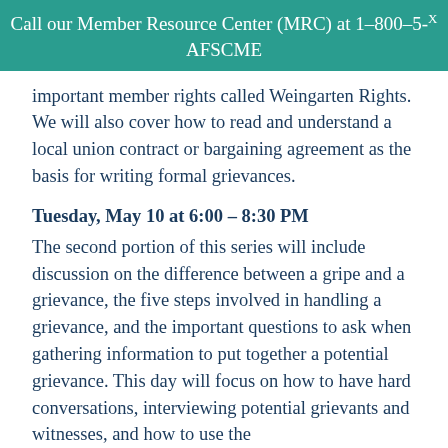Call our Member Resource Center (MRC) at 1-800-5-AFSCME
important member rights called Weingarten Rights. We will also cover how to read and understand a local union contract or bargaining agreement as the basis for writing formal grievances.
Tuesday, May 10 at 6:00 – 8:30 PM
The second portion of this series will include discussion on the difference between a gripe and a grievance, the five steps involved in handling a grievance, and the important questions to ask when gathering information to put together a potential grievance. This day will focus on how to have hard conversations, interviewing potential grievants and witnesses, and how to use the